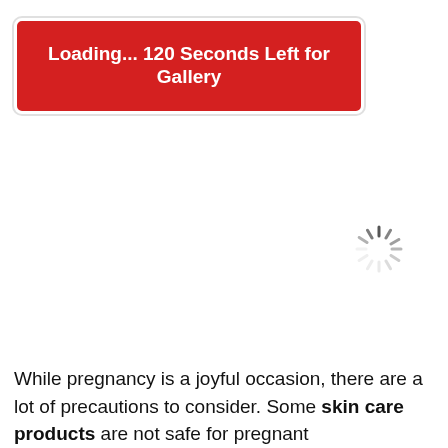[Figure (screenshot): Red button with white bold text reading 'Loading... 120 Seconds Left for Gallery' with rounded corners and border]
[Figure (other): Loading spinner icon — circular spokes in dark gray radiating from center]
While pregnancy is a joyful occasion, there are a lot of precautions to consider. Some skin care products are not safe for pregnant